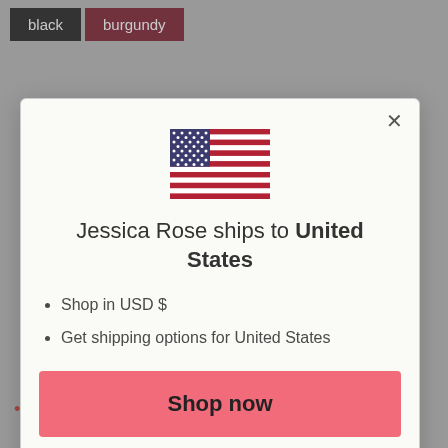black
burgundy
[Figure (illustration): US flag SVG illustration]
Jessica Rose ships to United States
Shop in USD $
Get shipping options for United States
Shop now
Change shipping country
made in Canada
95% modal jersey, 5% spandex